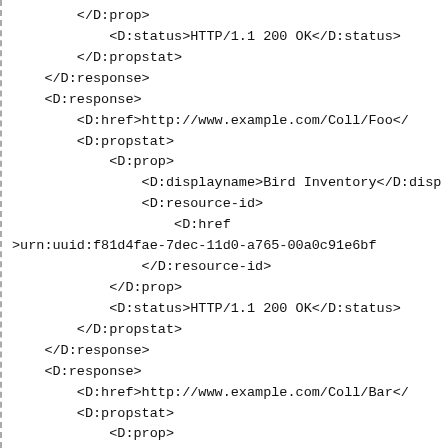</D:prop>
            <D:status>HTTP/1.1 200 OK</D:status>
        </D:propstat>
    </D:response>
    <D:response>
        <D:href>http://www.example.com/Coll/Foo</
        <D:propstat>
            <D:prop>
                <D:displayname>Bird Inventory</D:disp
                <D:resource-id>
                    <D:href
>urn:uuid:f81d4fae-7dec-11d0-a765-00a0c91e6bf
                </D:resource-id>
            </D:prop>
            <D:status>HTTP/1.1 200 OK</D:status>
        </D:propstat>
    </D:response>
    <D:response>
        <D:href>http://www.example.com/Coll/Bar</
        <D:propstat>
            <D:prop>